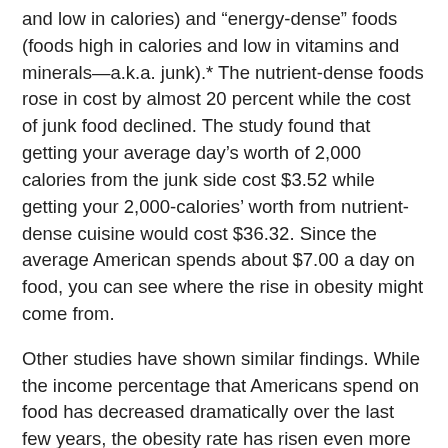and low in calories) and "energy-dense" foods (foods high in calories and low in vitamins and minerals—a.k.a. junk).* The nutrient-dense foods rose in cost by almost 20 percent while the cost of junk food declined. The study found that getting your average day's worth of 2,000 calories from the junk side cost $3.52 while getting your 2,000-calories' worth from nutrient-dense cuisine would cost $36.32. Since the average American spends about $7.00 a day on food, you can see where the rise in obesity might come from.
Other studies have shown similar findings. While the income percentage that Americans spend on food has decreased dramatically over the last few years, the obesity rate has risen even more dramatically, as has the incidence of type 2 diabetes, an obesity-related disease. And the obesity rate has grown the most in the most impoverished sectors of society, further emphasizing the connection between the rising costs of nutrient-dense foods, declining junk-food costs, and rising obesity rates. If you've priced out what a nice piece of Chilean sea bass with a side of asparagus costs compared to the latest offering from your local fast food joint's dollar menu, it's easy to be tempted to go to the